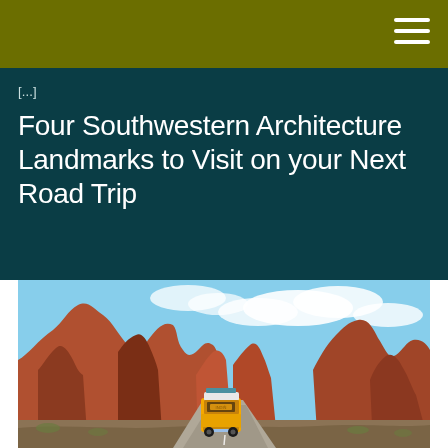[...]
Four Southwestern Architecture Landmarks to Visit on your Next Road Trip
[Figure (photo): Yellow VW van driving on a road through red rock canyon formations under blue sky with clouds, viewed from behind]